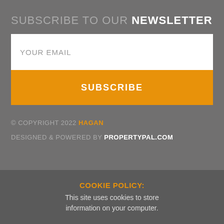SUBSCRIBE TO OUR NEWSLETTER
YOUR EMAIL
SUBSCRIBE
© COPYRIGHT 2022 HAGAN
DESIGNED & POWERED BY PROPERTYPAL.COM
COOKIE POLICY:
This site uses cookies to store information on your computer.